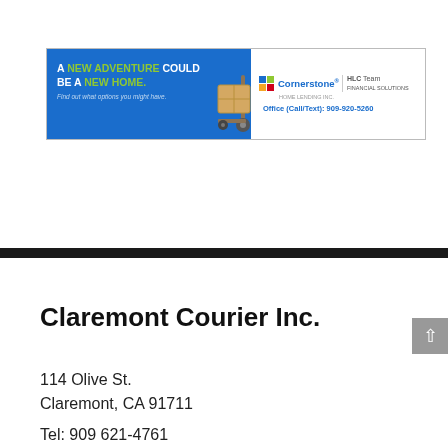[Figure (infographic): Cornerstone Home Lending HLC Team advertisement banner. Blue background on left with text 'A NEW ADVENTURE COULD BE A NEW HOME. Find out what options you might have.' with a moving box/dolly graphic. White panel on right with Cornerstone logo, HLC Team branding, and Office (Call/Text): 909-920-5260.]
Claremont Courier Inc.
114 Olive St.
Claremont, CA 91711
Tel: 909 621-4761